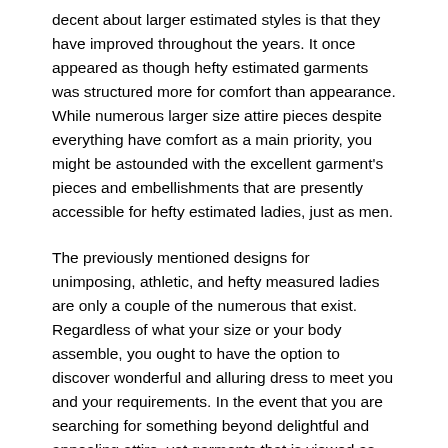decent about larger estimated styles is that they have improved throughout the years. It once appeared as though hefty estimated garments was structured more for comfort than appearance. While numerous larger size attire pieces despite everything have comfort as a main priority, you might be astounded with the excellent garment's pieces and embellishments that are presently accessible for hefty estimated ladies, just as men.
The previously mentioned designs for unimposing, athletic, and hefty measured ladies are only a couple of the numerous that exist. Regardless of what your size or your body assemble, you ought to have the option to discover wonderful and alluring dress to meet you and your requirements. In the event that you are searching for something beyond delightful and appealing attire, yet garments that is viewed as stylish right now, you might need to consider shopping at one of your neighborhood shopping centers. Window shopping is probably the most ideal approaches to audit the most recent patterns in styles, for all unique body types. Another methodology that you might need to take is purchasing style magazines or utilizing the web to assist you with looking into new, well-known design patterns for those with your body casing or body size.